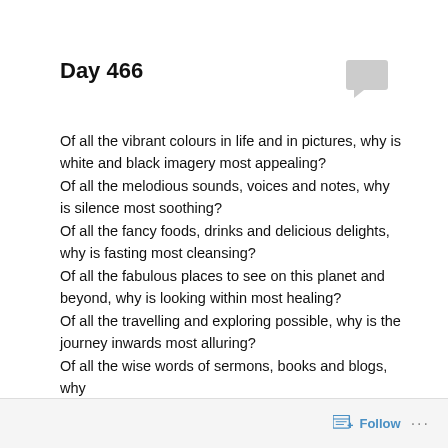Day 466
Of all the vibrant colours in life and in pictures, why is white and black imagery most appealing?
Of all the melodious sounds, voices and notes, why is silence most soothing?
Of all the fancy foods, drinks and delicious delights, why is fasting most cleansing?
Of all the fabulous places to see on this planet and beyond, why is looking within most healing?
Of all the travelling and exploring possible, why is the journey inwards most alluring?
Of all the wise words of sermons, books and blogs, why
Follow ...